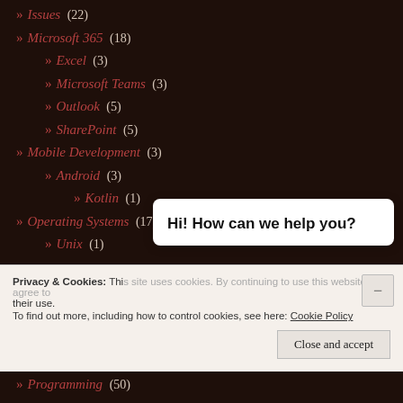» Microsoft 365 (18)
» Excel (3)
» Microsoft Teams (3)
» Outlook (5)
» SharePoint (5)
» Mobile Development (3)
» Android (3)
» Kotlin (1)
» Operating Systems (17)
» Unix (1)
Privacy & Cookies: This site uses cookies. By continuing to use this website, you agree to their use. To find out more, including how to control cookies, see here: Cookie Policy
Hi! How can we help you?
» Programming (50)